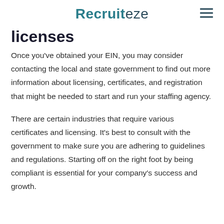Recruiteze
licenses
Once you've obtained your EIN, you may consider contacting the local and state government to find out more information about licensing, certificates, and registration that might be needed to start and run your staffing agency.
There are certain industries that require various certificates and licensing. It's best to consult with the government to make sure you are adhering to guidelines and regulations. Starting off on the right foot by being compliant is essential for your company's success and growth.